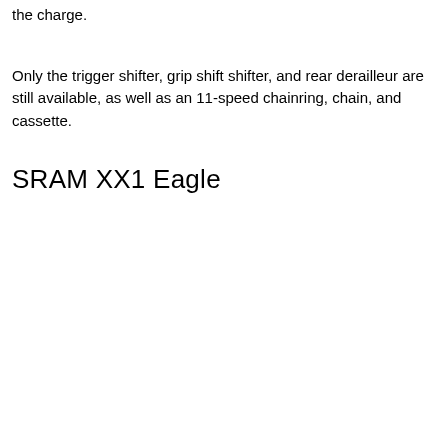the charge.
Only the trigger shifter, grip shift shifter, and rear derailleur are still available, as well as an 11-speed chainring, chain, and cassette.
SRAM XX1 Eagle